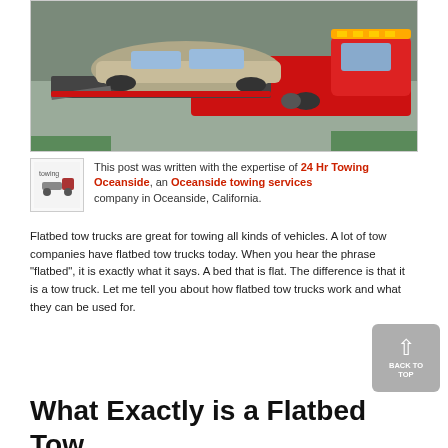[Figure (photo): Aerial/overhead view of a silver/gold car being loaded onto a red flatbed tow truck on a road.]
This post was written with the expertise of 24 Hr Towing Oceanside, an Oceanside towing services company in Oceanside, California.
Flatbed tow trucks are great for towing all kinds of vehicles. A lot of tow companies have flatbed tow trucks today. When you hear the phrase “flatbed”, it is exactly what it says. A bed that is flat. The difference is that it is a tow truck. Let me tell you about how flatbed tow trucks work and what they can be used for.
What Exactly is a Flatbed Tow